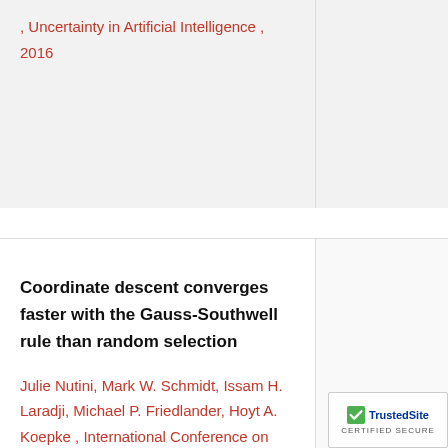, Uncertainty in Artificial Intelligence , 2016
Coordinate descent converges faster with the Gauss-Southwell rule than random selection
Julie Nutini, Mark W. Schmidt, Issam H. Laradji, Michael P. Friedlander, Hoyt A. Koepke , International Conference on Machine Learning ,  2015
Python
Free
Stop Wasting My Gradients: Practical SVRG
[Figure (logo): TrustedSite Certified Secure badge]